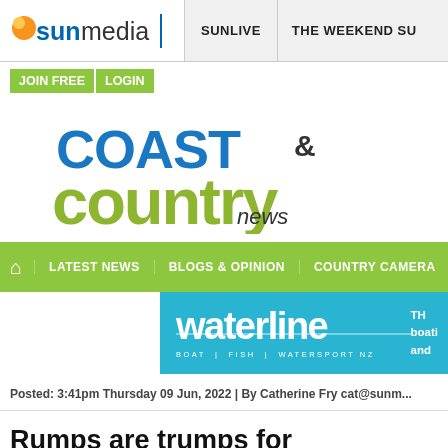sunmedia | SUNLIVE | THE WEEKEND SUN
JOIN FREE LOGIN
[Figure (logo): Coast & Country News logo — COAST in blue, & in dark grey, country in olive/green, news in dark grey below]
HOME | LATEST NEWS | BLOGS & OPINION | COUNTRY CAMERA
[Figure (logo): Waterline banner — waterline in white bold text on cyan/teal background, BOAT | FISH | WATERSPORT NZ subtitle, Th boati and text on right]
Posted: 3:41pm Thursday 09 Jun, 2022 | By Catherine Fry cat@sunm...
Rumps are trumps for Cambridge L...